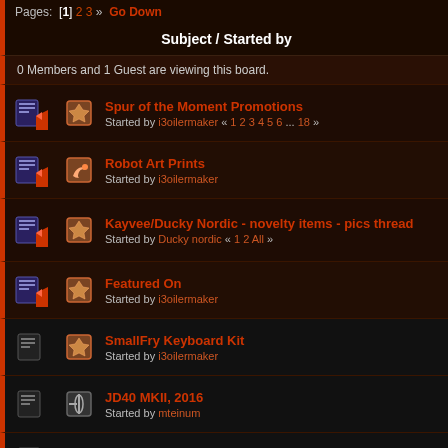Pages: [1] 2 3 » Go Down
Subject / Started by
0 Members and 1 Guest are viewing this board.
Spur of the Moment Promotions
Started by i3oilermaker « 1 2 3 4 5 6 ... 18 »
Robot Art Prints
Started by i3oilermaker
Kayvee/Ducky Nordic - novelty items - pics thread
Started by Ducky nordic « 1 2 All »
Featured On
Started by i3oilermaker
SmallFry Keyboard Kit
Started by i3oilermaker
JD40 MKII, 2016
Started by mteinum
60 percent frame from techkeys
Started by kgolden
SixKeyBoard Firmware Update to Easy AVR